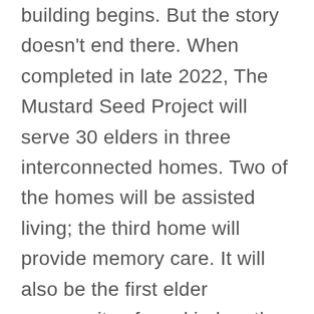building begins. But the story doesn't end there. When completed in late 2022, The Mustard Seed Project will serve 30 elders in three interconnected homes. Two of the homes will be assisted living; the third home will provide memory care. It will also be the first elder community of any kind on the peninsula.
The Mustard Seed Project will offer s transportation and a variety of other services to elders. Once built, there are ambitious second-phase plans including